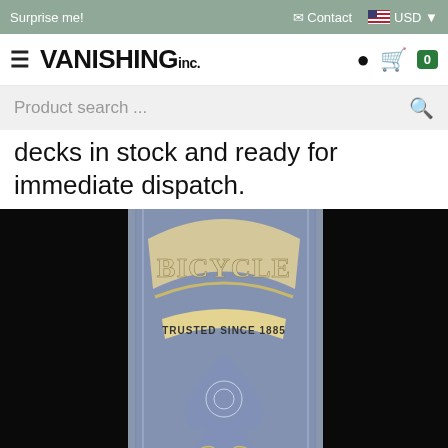Surprise me! | Contact | USD
VANISHING inc.
Product search ...
decks in stock and ready for immediate dispatch.
[Figure (photo): A Bicycle brand playing card deck back design showing 'BICYCLE TRUSTED SINCE 1885' text on a blue card back with ornate spade design, photographed against a black background]